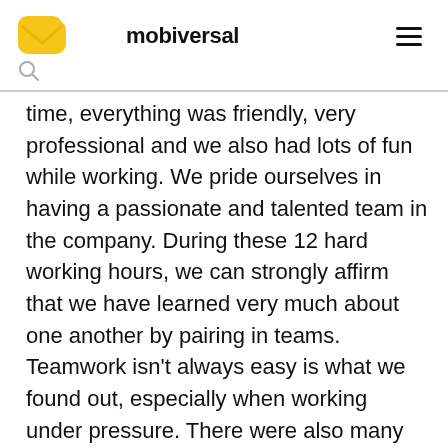mobiversal
time, everything was friendly, very professional and we also had lots of fun while working. We pride ourselves in having a passionate and talented team in the company. During these 12 hard working hours, we can strongly affirm that we have learned very much about one another by pairing in teams. Teamwork isn't always easy is what we found out, especially when working under pressure. There were also many ups and downs; just when one team